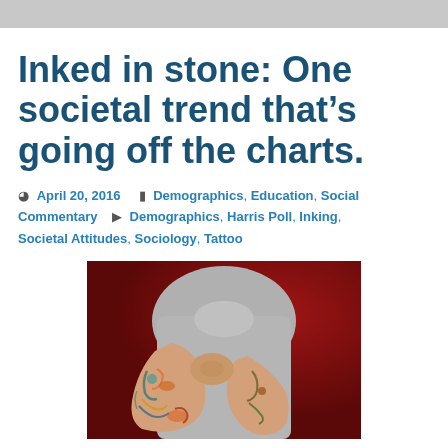Inked in stone: One societal trend that’s going off the charts.
April 20, 2016   Demographics, Education, Social Commentary   Demographics, Harris Poll, Inking, Societal Attitudes, Sociology, Tattoo
[Figure (photo): Person with tattooed arms crossed over chest, wearing grey t-shirt, against a dark red background]